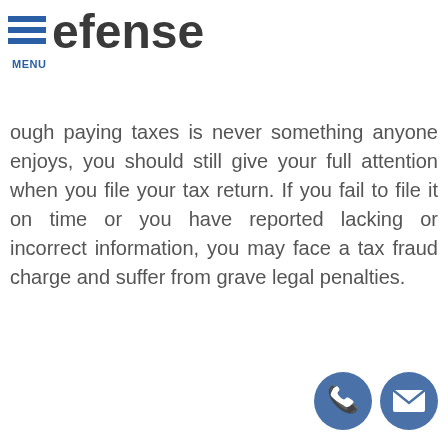efense
ough paying taxes is never something anyone enjoys, you should still give your full attention when you file your tax return. If you fail to file it on time or you have reported lacking or incorrect information, you may face a tax fraud charge and suffer from grave legal penalties.
[Figure (illustration): Two circular contact icons: a phone handset icon and an envelope/mail icon, both on dark blue circular backgrounds, positioned at bottom right.]